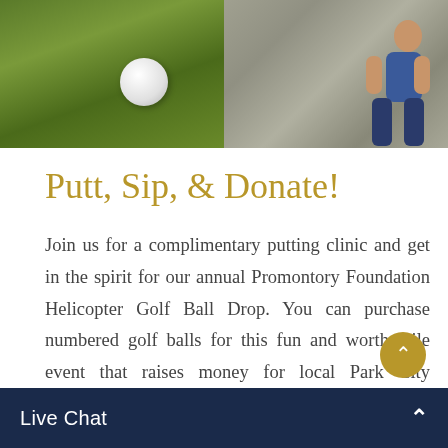[Figure (photo): Two side-by-side photos: left shows a golf ball on a green putting surface, right shows a person sitting on stone pavers]
Putt, Sip, & Donate!
Join us for a complimentary putting clinic and get in the spirit for our annual Promontory Foundation Helicopter Golf Ball Drop. You can purchase numbered golf balls for this fun and worthwhile event that raises money for local Park City nonprofits. The ball drop will take place on Friday, July 2nd during the Pancake Breakfast. Whichever ball lands closest to, will win an all-expense paid trip for two to Whistling Straits & Blackwol...